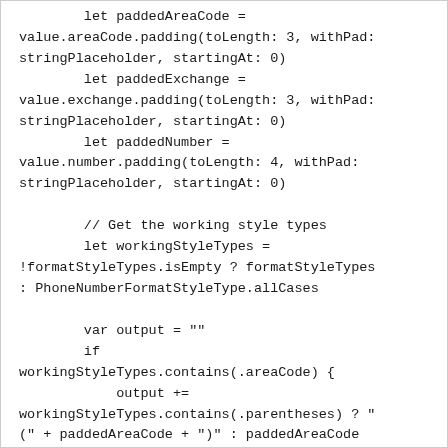let paddedAreaCode = value.areaCode.padding(toLength: 3, withPad: stringPlaceholder, startingAt: 0)
        let paddedExchange = value.exchange.padding(toLength: 3, withPad: stringPlaceholder, startingAt: 0)
        let paddedNumber = value.number.padding(toLength: 4, withPad: stringPlaceholder, startingAt: 0)

        // Get the working style types
        let workingStyleTypes = !formatStyleTypes.isEmpty ? formatStyleTypes : PhoneNumberFormatStyleType.allCases

        var output = ""
        if workingStyleTypes.contains(.areaCode) {
            output += workingStyleTypes.contains(.parentheses) ? "(" + paddedAreaCode + ")" : paddedAreaCode